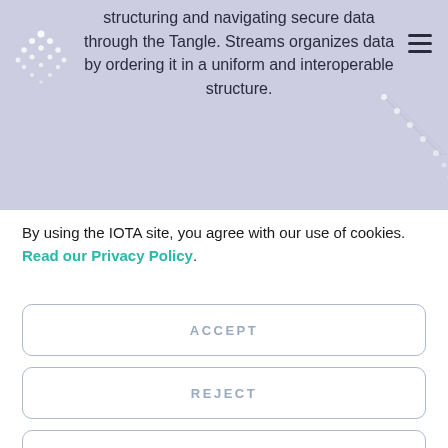structuring and navigating secure data through the Tangle. Streams organizes data by ordering it in a uniform and interoperable structure.
By using the IOTA site, you agree with our use of cookies. Read our Privacy Policy.
ACCEPT
REJECT
CUSTOMIZE